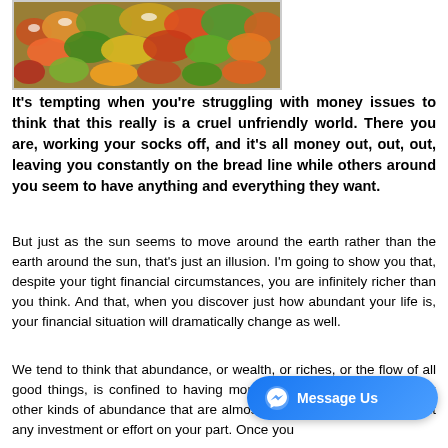[Figure (photo): A colorful market produce display with vegetables, fruits, and greens arranged in stalls]
It's tempting when you're struggling with money issues to think that this really is a cruel unfriendly world. There you are, working your socks off, and it's all money out, out, out, leaving you constantly on the bread line while others around you seem to have anything and everything they want.
But just as the sun seems to move around the earth rather than the earth around the sun, that's just an illusion. I'm going to show you that, despite your tight financial circumstances, you are infinitely richer than you think. And that, when you discover just how abundant your life is, your financial situation will dramatically change as well.
We tend to think that abundance, or wealth, or riches, or the flow of all good things, is confined to having money. Well, it isn't. Here are six other kinds of abundance that are almost cert... you right now, without any investment or effort on your part. Once you